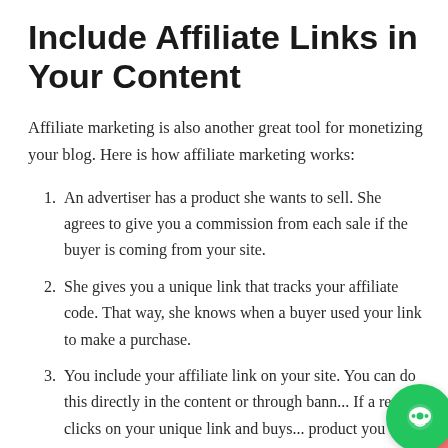Include Affiliate Links in Your Content
Affiliate marketing is also another great tool for monetizing your blog. Here is how affiliate marketing works:
An advertiser has a product she wants to sell. She agrees to give you a commission from each sale if the buyer is coming from your site.
She gives you a unique link that tracks your affiliate code. That way, she knows when a buyer used your link to make a purchase.
You include your affiliate link on your site. You can do this directly in the content or through bann... If a reader clicks on your unique link and buys... product you have recommended, you earn a